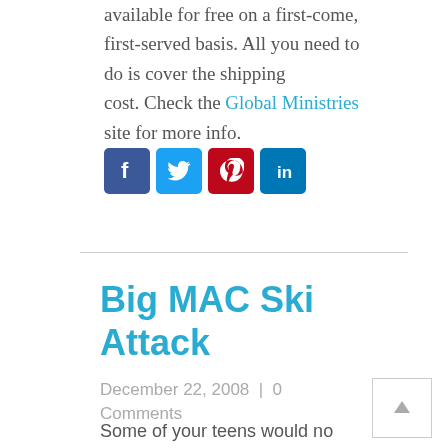available for free on a first-come, first-served basis. All you need to do is cover the shipping cost. Check the Global Ministries site for more info.
[Figure (infographic): Social media share icons: Facebook (blue), Twitter (light blue), Pinterest (red), LinkedIn (dark blue)]
Big MAC Ski Attack
December 22, 2008  |  0 Comments
Some of your teens would no doubt enjoy taking part in the Big